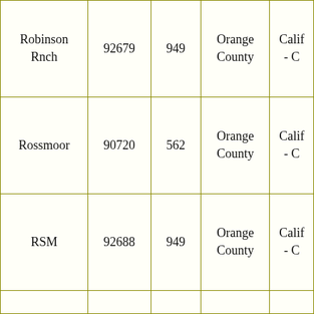| Robinson Rnch | 92679 | 949 | Orange County | Calif - C |
| Rossmoor | 90720 | 562 | Orange County | Calif - C |
| RSM | 92688 | 949 | Orange County | Calif - C |
|  |  |  |  |  |